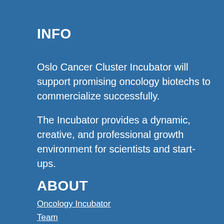INFO
Oslo Cancer Cluster Incubator will support promising oncology biotechs to commercialize successfully.
The Incubator provides a dynamic, creative, and professional growth environment for scientists and start-ups.
ABOUT
Oncology Incubator
Team